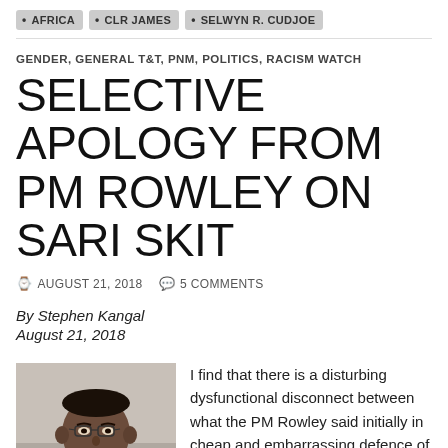AFRICA • CLR JAMES • SELWYN R. CUDJOE
GENDER, GENERAL T&T, PNM, POLITICS, RACISM WATCH
SELECTIVE APOLOGY FROM PM ROWLEY ON SARI SKIT
AUGUST 21, 2018  5 COMMENTS
By Stephen Kangal
August 21, 2018
[Figure (photo): Photograph of a man wearing glasses and a dark suit with a white shirt, looking serious]
I find that there is a disturbing dysfunctional disconnect between what the PM Rowley said initially in cheap and embarrassing defence of the Sari Skit, the several reasons for